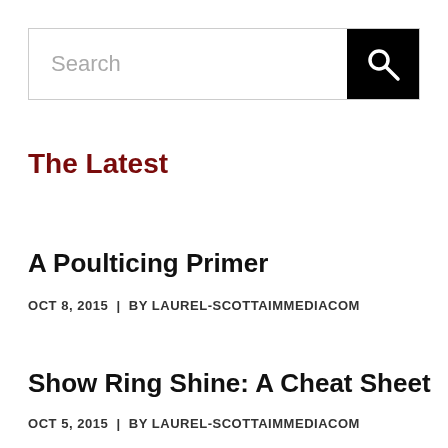[Figure (screenshot): Search bar with text input field and black search button with magnifying glass icon]
The Latest
A Poulticing Primer
OCT 8, 2015  |  BY LAUREL-SCOTTAIMMEDIACOM
Show Ring Shine: A Cheat Sheet
OCT 5, 2015  |  BY LAUREL-SCOTTAIMMEDIACOM